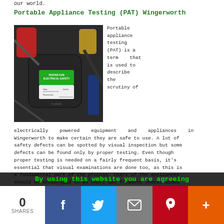our world.
Portable Appliance Testing (PAT) Wingerworth
[Figure (photo): Close-up photo of an electrical plug with a green PAT testing label reading 'TESTED FOR ELECTRICAL SAFETY', with Date, Initials, and Re-test due fields. Multiple plugs and cables visible in background.]
Portable appliance testing (PAT) is a term that is used to describe the scrutiny of electrically powered equipment and appliances in Wingerworth to make certain they are safe to use. A lot of safety defects can be spotted by visual inspection but some defects can be found only by proper testing. Even though proper testing is needed on a fairly frequent basis, it's essential that visual examinations are done too, as this is a fundamental part of the process. Users of the appliances should be encouraged to do short but frequent checks aided
By using this website you are agreeing
0 SHARES